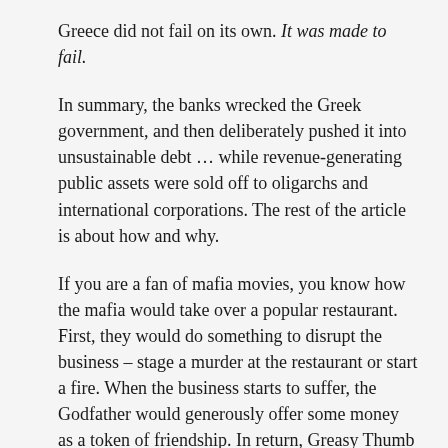Greece did not fail on its own. It was made to fail.
In summary, the banks wrecked the Greek government, and then deliberately pushed it into unsustainable debt ... while revenue-generating public assets were sold off to oligarchs and international corporations. The rest of the article is about how and why.
If you are a fan of mafia movies, you know how the mafia would take over a popular restaurant. First, they would do something to disrupt the business – stage a murder at the restaurant or start a fire. When the business starts to suffer, the Godfather would generously offer some money as a token of friendship. In return, Greasy Thumb takes over the restaurant's accounting, Big Joey is put in charge of procurement, and so on. Needless to say, it's a journey down a spiral of misery for the owner who will soon be broke and, if lucky, alive.